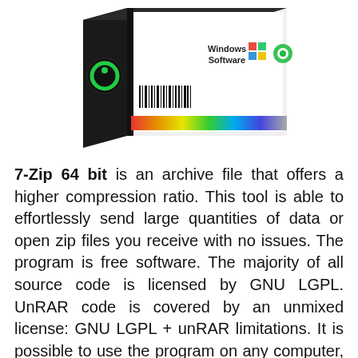[Figure (photo): A software box for 7-Zip 64-bit Windows software, showing a black box with a green circle logo, a barcode, and a colorful stripe. The box displays 'Windows Software' text with Microsoft Windows and open-source logos.]
7-Zip 64 bit is an archive file that offers a higher compression ratio. This tool is able to effortlessly send large quantities of data or open zip files you receive with no issues. The program is free software. The majority of all source code is licensed by GNU LGPL. UnRAR code is covered by an unmixed license: GNU LGPL + unRAR limitations. It is possible to use the program on any computer, not just computers in a business company. It is not necessary to sign up or purchase the tool. Download the 64-bit offline 7-zip offline